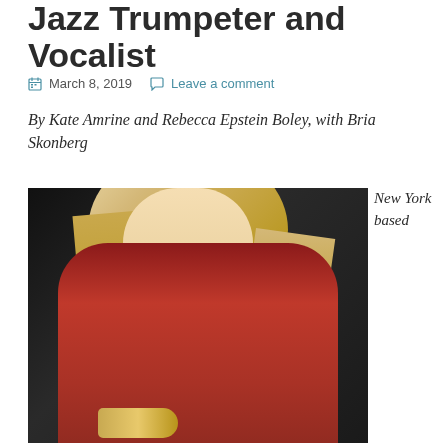Jazz Trumpeter and Vocalist
March 8, 2019   Leave a comment
By Kate Amrine and Rebecca Epstein Boley, with Bria Skonberg
[Figure (photo): Portrait photo of Bria Skonberg, a blonde woman wearing a red turtleneck top, holding a trumpet, against a dark background]
New York based